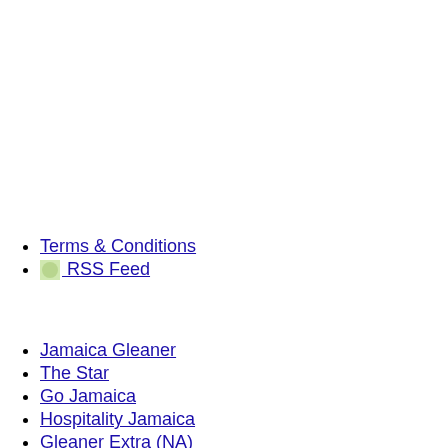Terms & Conditions
RSS Feed
Jamaica Gleaner
The Star
Go Jamaica
Hospitality Jamaica
Gleaner Extra (NA)
Youthlink
Voice UK